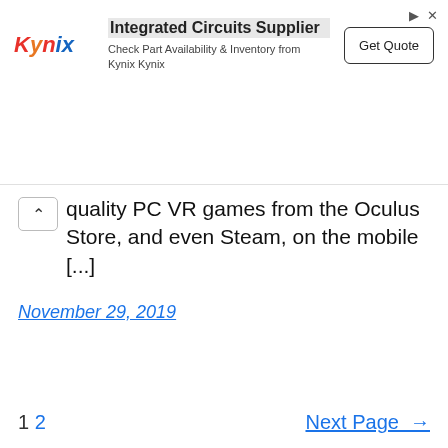[Figure (other): Kynix Integrated Circuits Supplier advertisement banner with Kynix logo, headline 'Integrated Circuits Supplier', subtext 'Check Part Availability & Inventory from Kynix Kynix', and a 'Get Quote' button.]
quality PC VR games from the Oculus Store, and even Steam, on the mobile [...]
November 29, 2019
1 2   Next Page →